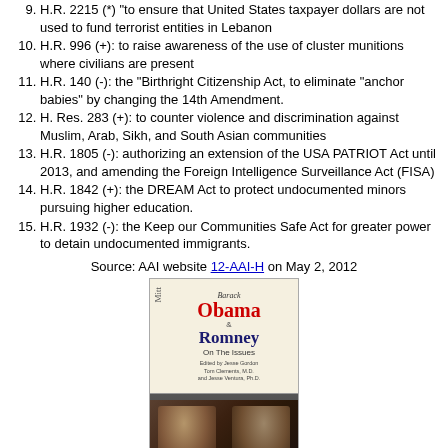H.R. 2215 (*) "to ensure that United States taxpayer dollars are not used to fund terrorist entities in Lebanon
H.R. 996 (+): to raise awareness of the use of cluster munitions where civilians are present
H.R. 140 (-): the "Birthright Citizenship Act, to eliminate "anchor babies" by changing the 14th Amendment.
H. Res. 283 (+): to counter violence and discrimination against Muslim, Arab, Sikh, and South Asian communities
H.R. 1805 (-): authorizing an extension of the USA PATRIOT Act until 2013, and amending the Foreign Intelligence Surveillance Act (FISA)
H.R. 1842 (+): the DREAM Act to protect undocumented minors pursuing higher education.
H.R. 1932 (-): the Keep our Communities Safe Act for greater power to detain undocumented immigrants.
Source: AAI website 12-AAI-H on May 2, 2012
[Figure (photo): Book cover: Barack Obama & Mitt Romney On The Issues, showing photos of both candidates]
Paperback: Mitt Romney vs. Barack Obama On The Issues
About the American Council of the...